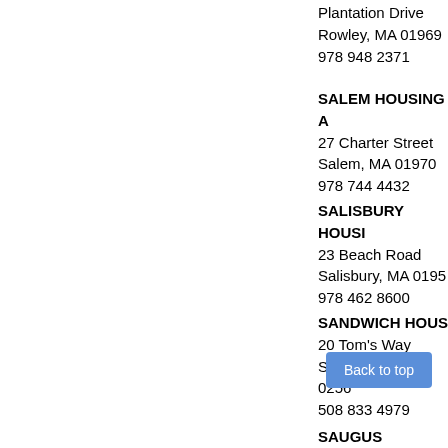Plantation Drive
Rowley, MA 01969
978 948 2371
SALEM HOUSING A
27 Charter Street
Salem, MA 01970
978 744 4432
SALISBURY HOUSI
23 Beach Road
Salisbury, MA 0195
978 462 8600
SANDWICH HOUS
20 Tom's Way
Sandwich, MA 0256
508 833 4979
SAUGUS HOUSING
19 T
Saugus, MA 0188